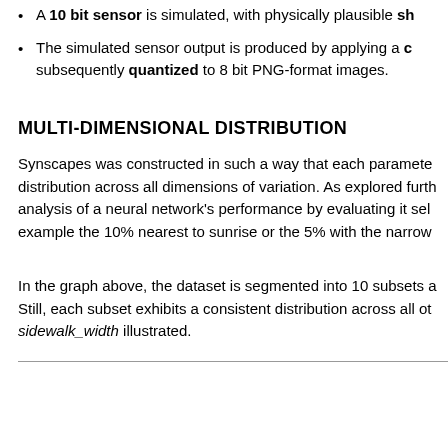A 10 bit sensor is simulated, with physically plausible sh
The simulated sensor output is produced by applying a c subsequently quantized to 8 bit PNG-format images.
MULTI-DIMENSIONAL DISTRIBUTION
Synscapes was constructed in such a way that each paramete distribution across all dimensions of variation. As explored furth analysis of a neural network's performance by evaluating it sel example the 10% nearest to sunrise or the 5% with the narrow
In the graph above, the dataset is segmented into 10 subsets a Still, each subset exhibits a consistent distribution across all ot sidewalk_width illustrated.